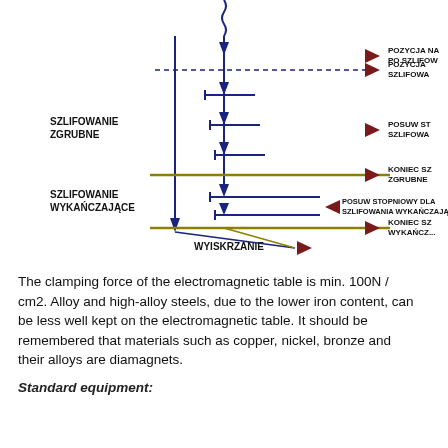[Figure (engineering-diagram): Grinding cycle diagram showing SZLIFOWANIE ZGRUBNE (rough grinding) and SZLIFOWANIE WYKAŃCZAJĄCE (finish grinding) stages with Polish labels: POZYCJA NA PO SZLIFOW, POZYCJA SZLIFOWA, POSUW ST SZLIFOWA, KONIEC SZ ZGRUBNE, POSUW STOPNIOWY DLA SZLIFOWANIA WYKAŃCZAJĄCEGO, KONIEC SZ WYKAŃCZ, WYISKRZANIE. Blue arrows show stepwise depth increments, dark red arrows label positions on right side.]
The clamping force of the electromagnetic table is min. 100N / cm2. Alloy and high-alloy steels, due to the lower iron content, can be less well kept on the electromagnetic table. It should be remembered that materials such as copper, nickel, bronze and their alloys are diamagnets.
Standard equipment: